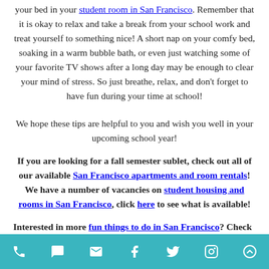your bed in your student room in San Francisco. Remember that it is okay to relax and take a break from your school work and treat yourself to something nice! A short nap on your comfy bed, soaking in a warm bubble bath, or even just watching some of your favorite TV shows after a long day may be enough to clear your mind of stress. So just breathe, relax, and don't forget to have fun during your time at school!
We hope these tips are helpful to you and wish you well in your upcoming school year!
If you are looking for a fall semester sublet, check out all of our available San Francisco apartments and room rentals! We have a number of vacancies on student housing and rooms in San Francisco, click here to see what is available!
Interested in more fun things to do in San Francisco? Check out our
phone chat email facebook twitter instagram scroll-up